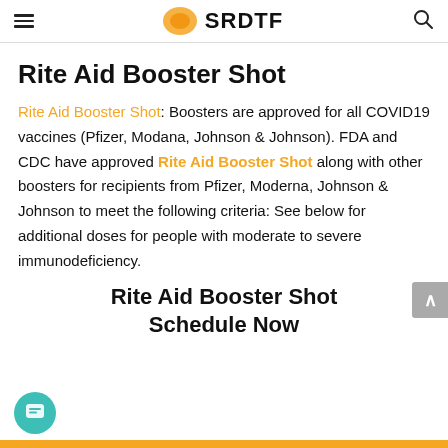SRDTF
Rite Aid Booster Shot
Rite Aid Booster Shot: Boosters are approved for all COVID19 vaccines (Pfizer, Modana, Johnson & Johnson). FDA and CDC have approved Rite Aid Booster Shot along with other boosters for recipients from Pfizer, Moderna, Johnson & Johnson to meet the following criteria: See below for additional doses for people with moderate to severe immunodeficiency.
Rite Aid Booster Shot Schedule Now